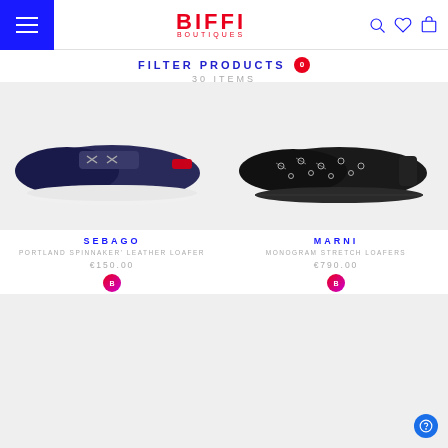BIFFI BOUTIQUES
FILTER PRODUCTS 0
30 ITEMS
[Figure (photo): Sebago Portland Spinnaker leather loafer shoe, navy blue with red stripe and white sole, side view on light grey background]
SEBAGO
PORTLAND SPINNAKER' LEATHER LOAFER
€150.00
[Figure (photo): Marni monogram stretch loafer, black with white monogram pattern, side view on light grey background]
MARNI
MONOGRAM STRETCH LOAFERS
€790.00
[Figure (photo): Product image placeholder - light grey background, no product visible]
[Figure (photo): Product image placeholder - light grey background, no product visible]